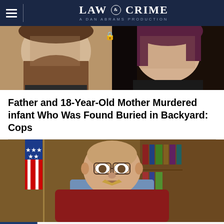LAW & CRIME — A DAN ABRAMS PRODUCTION
[Figure (photo): Mugshot-style photo showing two individuals side by side: a man with a large beard on the left and a woman with dark reddish hair on the right]
Father and 18-Year-Old Mother Murdered infant Who Was Found Buried in Backyard: Cops
[Figure (photo): Elderly man seated in a leather chair in an office setting with an American flag in the background, appearing on Newsmax TV with chyron reading: THE FBI IS WEAPONIZED AND POLITICIZED]
NEWSMAX — THE FBI IS WEAPONIZED AND POLITICIZED